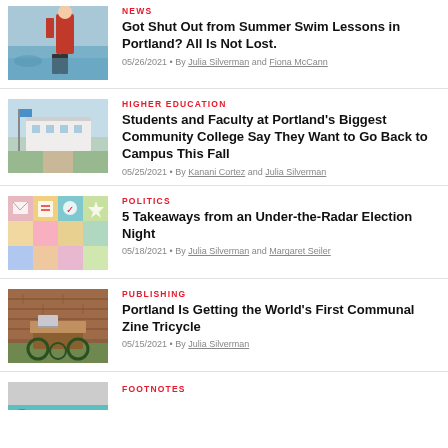[Figure (photo): Lifeguard in red uniform sitting by a pool]
NEWS
Got Shut Out from Summer Swim Lessons in Portland? All Is Not Lost.
05/26/2021 • By Julia Silverman and Fiona McCann
[Figure (photo): Community college campus building exterior with blue flags]
HIGHER EDUCATION
Students and Faculty at Portland's Biggest Community College Say They Want to Go Back to Campus This Fall
05/25/2021 • By Kanani Cortez and Julia Silverman
[Figure (illustration): Colorful grid of election/voting icons on pastel backgrounds]
POLITICS
5 Takeaways from an Under-the-Radar Election Night
05/18/2021 • By Julia Silverman and Margaret Seiler
[Figure (photo): A communal zine tricycle with laptop and books outdoors]
PUBLISHING
Portland Is Getting the World's First Communal Zine Tricycle
05/15/2021 • By Julia Silverman
FOOTNOTES